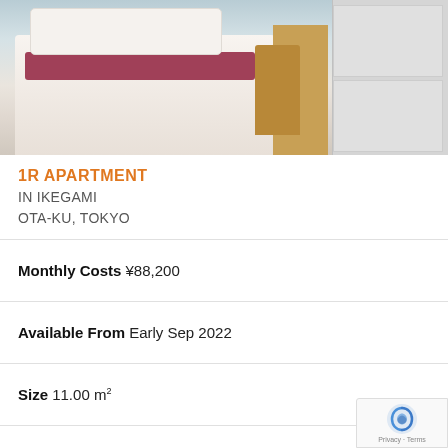[Figure (photo): Interior photo of a small Japanese apartment bedroom showing a single bed with white pillow and dark red/maroon blanket, a wooden chair and desk, and white cabinet/wardrobe on the right side.]
1R APARTMENT
IN IKEGAMI
OTA-KU, TOKYO
Monthly Costs ¥88,200
Available From Early Sep 2022
Size 11.00 m²
Deposit ¥0
Key Money ¥0
Floor 1 / 2F